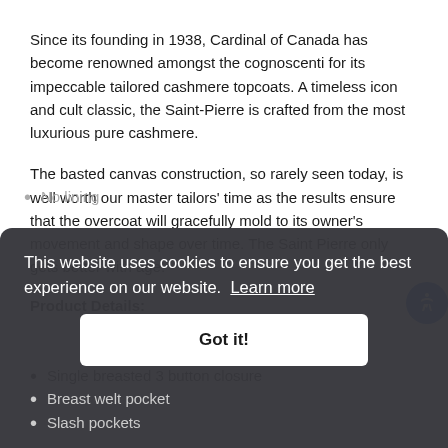Since its founding in 1938, Cardinal of Canada has become renowned amongst the cognoscenti for its impeccable tailored cashmere topcoats. A timeless icon and cult classic, the Saint-Pierre is crafted from the most luxurious pure cashmere.
The basted canvas construction, so rarely seen today, is well worth our master tailors' time as the results ensure that the overcoat will gracefully mold to its owner's movement and shape over time. The Saint Pierre only gets better with age.
Product Details:
Single breasted 3 button closure
Breast welt pocket
Slash pockets
Sleeve buttons
This website uses cookies to ensure you get the best experience on our website. Learn more
Got it!